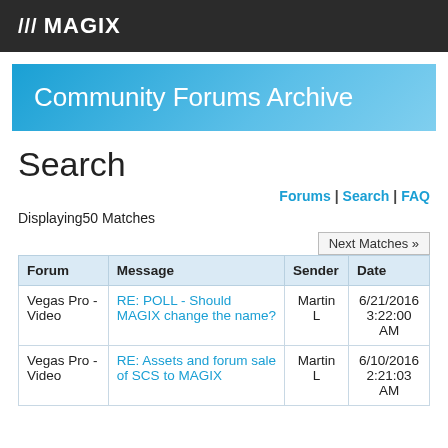/// MAGIX
Community Forums Archive
Search
Forums | Search | FAQ
Displaying50 Matches
| Forum | Message | Sender | Date |
| --- | --- | --- | --- |
| Vegas Pro - Video | RE: POLL - Should MAGIX change the name? | Martin L | 6/21/2016 3:22:00 AM |
| Vegas Pro - Video | RE: Assets and forum sale of SCS to MAGIX | Martin L | 6/10/2016 2:21:03 AM |